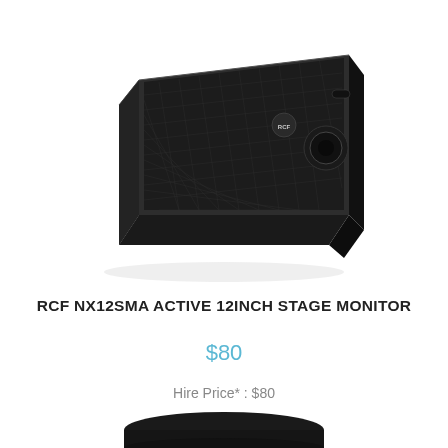[Figure (photo): RCF NX12SMA active 12-inch stage monitor speaker shown in 3/4 angled view, black wedge-shaped cabinet with mesh grille and RCF logo badge, on white background]
RCF NX12SMA ACTIVE 12INCH STAGE MONITOR
$80
Hire Price* : $80
[Figure (photo): Partial view of another product at the bottom of the page, cropped]